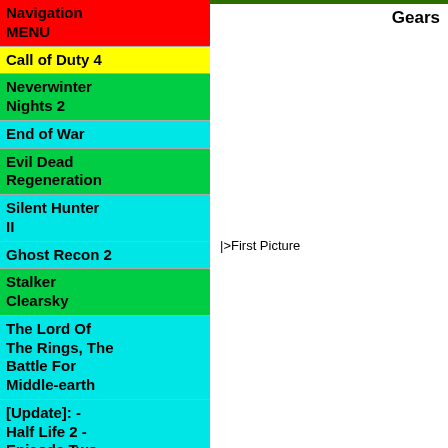Gears
Navigation MENU
Call of Duty 4
Neverwinter Nights 2
End of War
Evil Dead Regeneration
Silent Hunter II
Ghost Recon 2
Stalker Clearsky
The Lord Of The Rings, The Battle For Middle-earth
[Update]: - Half Life 2 - Episode Two
S.T.A.L.K.E.R.
Prototype
Grand Theft Auto 2
|>First Picture